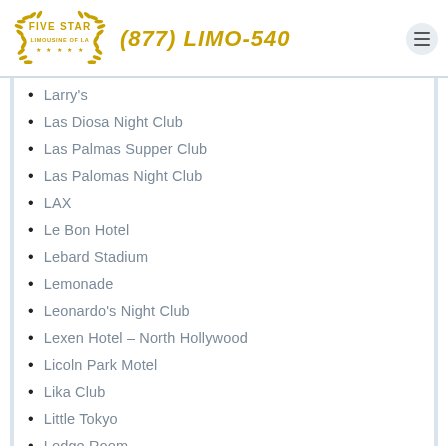Five Star Limousine of LA — (877) LIMO-540
Larry's
Las Diosa Night Club
Las Palmas Supper Club
Las Palomas Night Club
LAX
Le Bon Hotel
Lebard Stadium
Lemonade
Leonardo's Night Club
Lexen Hotel – North Hollywood
Licoln Park Motel
Lika Club
Little Tokyo
Lodge Room
Long Beach Airport
Los Angeles Airport Marriott
Los Angeles Central Library